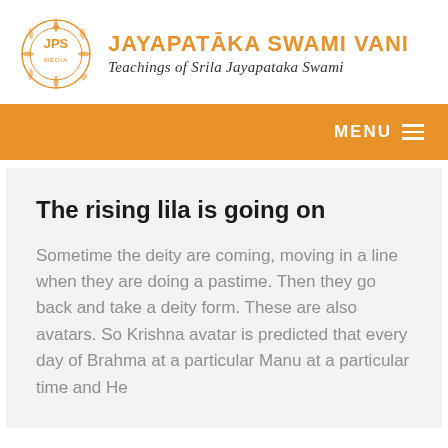JAYAPATĀKA SWAMI VANI — Teachings of Srila Jayapataka Swami
The rising lila is going on
Sometime the deity are coming, moving in a line when they are doing a pastime. Then they go back and take a deity form. These are also avatars. So Krishna avatar is predicted that every day of Brahma at a particular Manu at a particular time and He